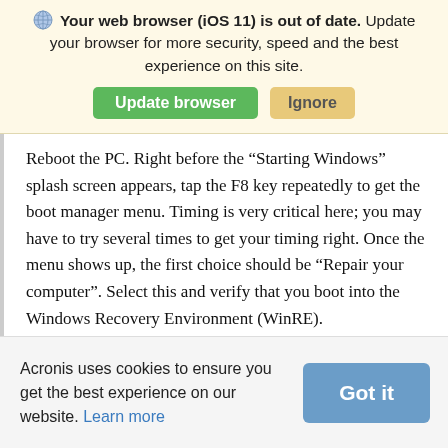[Figure (screenshot): Browser update notification banner with globe icon, bold text 'Your web browser (iOS 11) is out of date.' followed by 'Update your browser for more security, speed and the best experience on this site.' with green 'Update browser' button and tan 'Ignore' button.]
Reboot the PC. Right before the "Starting Windows" splash screen appears, tap the F8 key repeatedly to get the boot manager menu. Timing is very critical here; you may have to try several times to get your timing right. Once the menu shows up, the first choice should be "Repair your computer". Select this and verify that you boot into the Windows Recovery Environment (WinRE).
If step 2 does not work out (the PC fails to boot or
Acronis uses cookies to ensure you get the best experience on our website. Learn more
[Figure (screenshot): Cookie consent bar with text 'Acronis uses cookies to ensure you get the best experience on our website. Learn more' link, and a blue 'Got it' button on the right.]